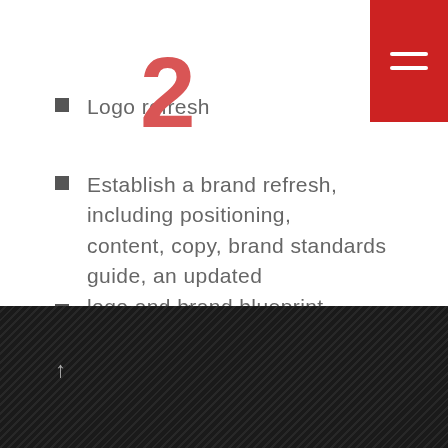[Figure (other): Red hamburger menu button in top-right corner with two white horizontal bars on red background]
Logo refresh
Establish a brand refresh, including positioning, content, copy, brand standards guide, an updated logo and brand blueprint
New website
Digital Marketing plan
[Figure (photo): Dark textured background section at the bottom of the page, dark wood or fabric texture, with an upward arrow icon on the left side]